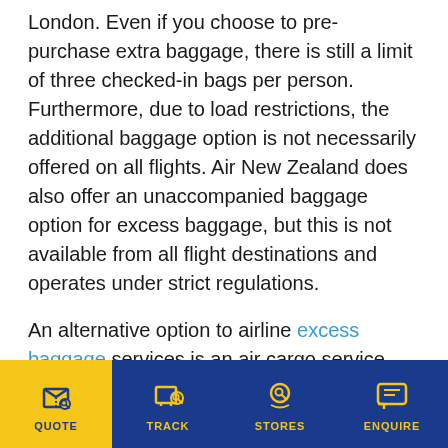London. Even if you choose to pre-purchase extra baggage, there is still a limit of three checked-in bags per person. Furthermore, due to load restrictions, the additional baggage option is not necessarily offered on all flights. Air New Zealand does also offer an unaccompanied baggage option for excess baggage, but this is not available from all flight destinations and operates under strict regulations.
An alternative option to airline excess baggage services is an air cargo service. Pack & Send operates an air cargo service that provides fixed-price transportation to worldwide destinations.
QUOTE | TRACK | STORES | ENQUIRE